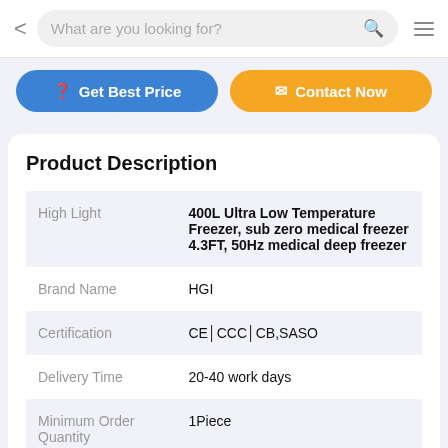What are you looking for?
[Figure (screenshot): Get Best Price (blue button) and Contact Now (orange button)]
Product Description
| Field | Value |
| --- | --- |
| High Light | 400L Ultra Low Temperature Freezer, sub zero medical freezer 4.3FT, 50Hz medical deep freezer |
| Brand Name | HGI |
| Certification | CE|CCC|CB,SASO |
| Delivery Time | 20-40 work days |
| Minimum Order Quantity | 1Piece |